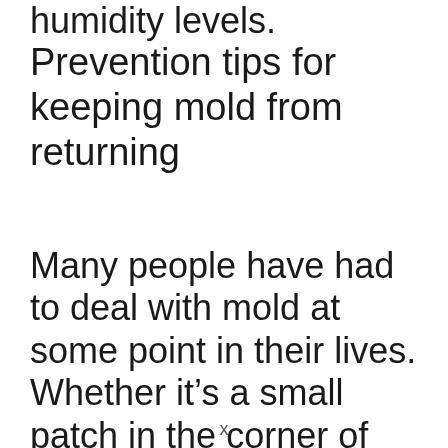humidity levels.
Prevention tips for keeping mold from returning
Many people have had to deal with mold at some point in their lives. Whether it’s a small patch in the corner of the bathroom or a full-blown infestation, getting